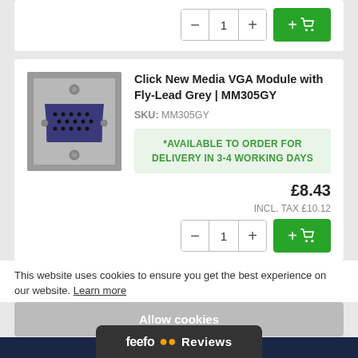[Figure (screenshot): Quantity selector with minus, 1, plus buttons and green add-to-cart button at top of page]
[Figure (photo): Click New Media VGA Module with Fly-Lead Grey product image showing grey wall plate with VGA connector]
Click New Media VGA Module with Fly-Lead Grey | MM305GY
SKU: MM305GY
*AVAILABLE TO ORDER FOR DELIVERY IN 3-4 WORKING DAYS
£8.43
INCL. TAX £10.12
[Figure (screenshot): Quantity selector with minus, 1, plus buttons and green add-to-cart button]
This website uses cookies to ensure you get the best experience on our website. Learn more
Allow cookies
feefo Reviews